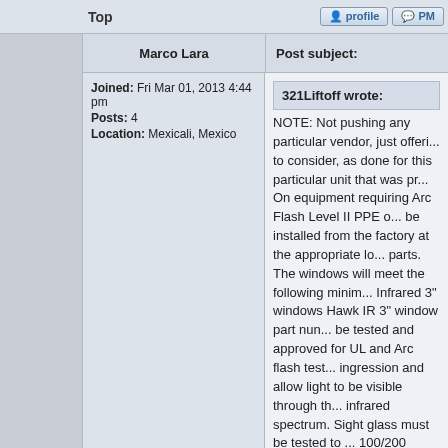Top
| Marco Lara | Post subject: |
| --- | --- |
| Joined: Fri Mar 01, 2013 4:44 pm
Posts: 4
Location: Mexicali, Mexico | 321Liftoff wrote:
NOTE: Not pushing any particular vendor, just offeri... to consider, as done for this particular unit that was pr... On equipment requiring Arc Flash Level II PPE o... be installed from the factory at the appropriate lo... parts. The windows will meet the following minim... Infrared 3" windows Hawk IR 3" window part nun... be tested and approved for UL and Arc flash test... ingression and allow light to be visible through th... infrared spectrum. Sight glass must be tested to ... 100/200 standards. Warranty for life of installatio... and short wave IR designed for installation in po... voltage either indoor or outdoor, utilizing a broad... that operates effectively with both long wave and... Lens must have protective cover and stainless s... must have passed the following test: IP65, NEMA... Dielectric Testing - Lightening Impulse 75kV, Diel... frequency 25kV, Temperature rise @ 2000A, 800... passed these tests is necessary to provide safety... Infrared 2" windows Hawk IR 2" window part num... be tested and approved for UL and Arc flash test... ingression and allow light to be visible through th... infrared spectrum. Sight glass must be tested to... |